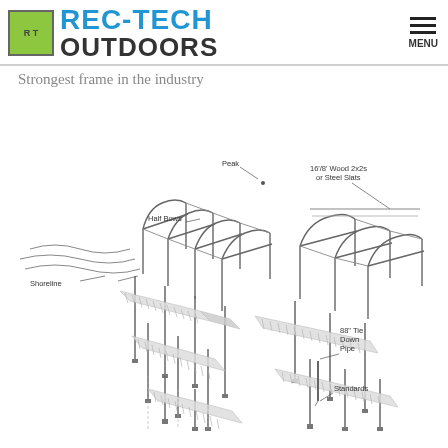REC-TECH OUTDOORS | MENU
Strongest frame in the industry
[Figure (engineering-diagram): Exploded isometric diagram of a dock/boat lift frame system showing labeled components: Peak (top center connection), Half Bows (curved arm supports), 16'/8' Wood 2x2s or Steel Slats (horizontal decking boards), Shoreline (left side water edge), 88" Tie Down Pipe (vertical support pipe on right), Standards (vertical legs/posts at base). The diagram shows multiple dock sections extending from the shoreline with slatted walkway decking and arched canopy frame supports above.]